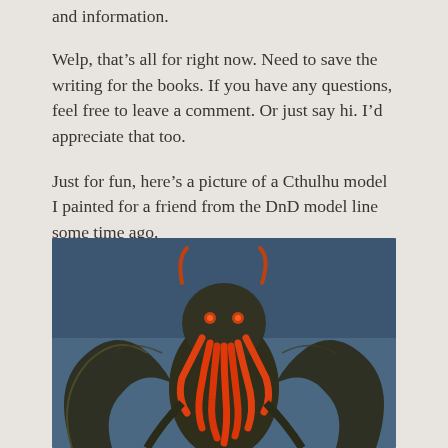and information.
Welp, that’s all for right now. Need to save the writing for the books. If you have any questions, feel free to leave a comment. Or just say hi. I’d appreciate that too.
Just for fun, here’s a picture of a Cthulhu model I painted for a friend from the DnD model line some time ago.
[Figure (photo): A painted Cthulhu miniature model from the DnD model line, featuring a dark bronze/green body with large bat-like wings, orange tentacles around the face/mouth area, and orange accent details. Photographed against a dark blue background.]